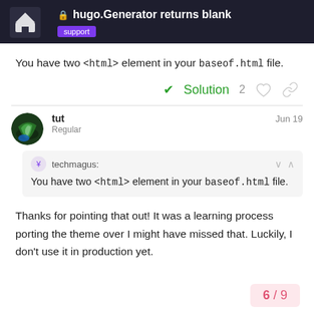hugo.Generator returns blank — support
You have two <html> element in your baseof.html file.
✓ Solution  2
tut  Jun 19
Regular
techmagus: You have two <html> element in your baseof.html file.
Thanks for pointing that out! It was a learning process porting the theme over I might have missed that. Luckily, I don't use it in production yet.
6 / 9